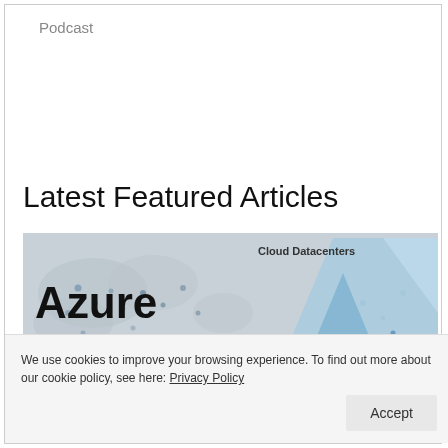Podcast
Latest Featured Articles
[Figure (illustration): Azure Regions Cloud Datacenters article thumbnail image showing a world map with blue dots and a large blue prism/A-shape on the right side with bold text 'Azure Regions' and label 'Cloud Datacenters']
We use cookies to improve your browsing experience. To find out more about our cookie policy, see here: Privacy Policy
Accept
Azure Regions: Interactive